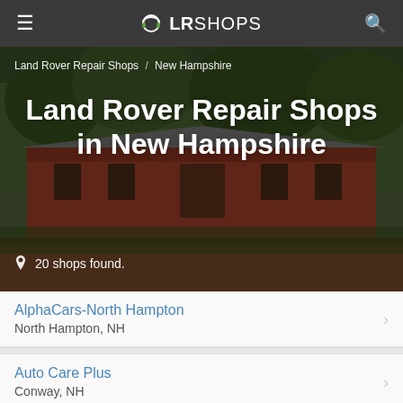LRSHOPS
[Figure (photo): A covered wooden bridge surrounded by trees and greenery, serving as the hero background image for a Land Rover repair shops directory page for New Hampshire.]
Land Rover Repair Shops / New Hampshire
Land Rover Repair Shops in New Hampshire
20 shops found.
AlphaCars-North Hampton
North Hampton, NH
Auto Care Plus
Conway, NH
Autoworks
Kittery, ME